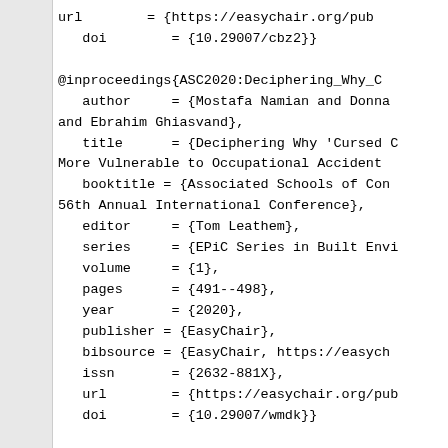url        = {https://easychair.org/pub
   doi        = {10.29007/cbz2}}

@inproceedings{ASC2020:Deciphering_Why_C
   author     = {Mostafa Namian and Donna
and Ebrahim Ghiasvand},
   title      = {Deciphering Why 'Cursed C
More Vulnerable to Occupational Accident
   booktitle = {Associated Schools of Con
56th Annual International Conference},
   editor     = {Tom Leathem},
   series     = {EPiC Series in Built Envi
   volume     = {1},
   pages      = {491--498},
   year       = {2020},
   publisher = {EasyChair},
   bibsource = {EasyChair, https://easych
   issn       = {2632-881X},
   url        = {https://easychair.org/pub
   doi        = {10.29007/wmdk}}